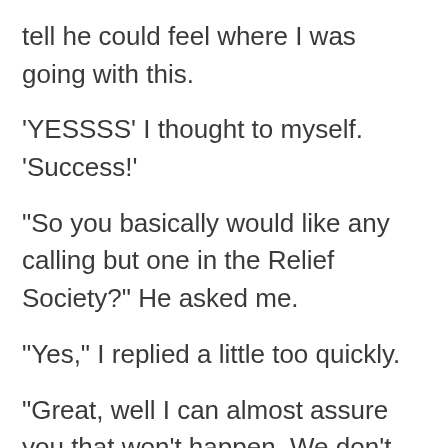tell he could feel where I was going with this.
'YESSSS' I thought to myself. 'Success!'
“So you basically would like any calling but one in the Relief Society?” He asked me.
“Yes,” I replied a little too quickly.
“Great, well I can almost assure you that won’t happen. We don’t need you there right now.” He goes on to tell me they (whoever they are) are meeting on Tuesday to discuss callings and they may come up with something then.
So there I am glowing… ‘I’ll do anything’ I’m